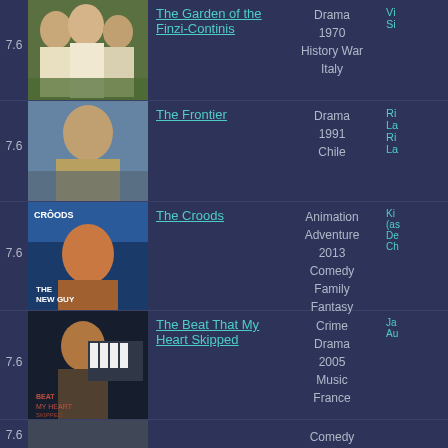[Figure (photo): Movie poster/still for The Garden of the Finzi-Continis showing three people in a field]
7.6
The Garden of the Finzi-Continis
1970 Drama History War Italy
[Figure (photo): Movie poster/still for The Frontier showing a man]
7.6
The Frontier
1991 Drama Chile
[Figure (photo): Movie poster for The Croods animated film]
7.6
The Croods
2013 Animation Adventure Comedy Family Fantasy
[Figure (photo): Movie poster for The Beat That My Heart Skipped]
7.6
The Beat That My Heart Skipped
2005 Crime Drama Music France
[Figure (photo): Partially visible movie poster at bottom]
7.6
Comedy